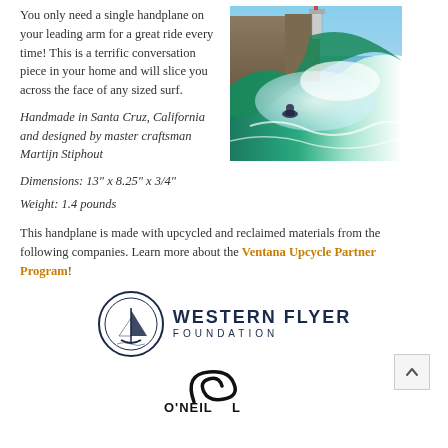You only need a single handplane on your leading arm for a great ride every time! This is a terrific conversation piece in your home and will slice you across the face of any sized surf.
[Figure (photo): Action shot of a surfer riding a large wave near a rocky coast with a lighthouse visible in the background, water spray surrounding the surfer.]
Handmade in Santa Cruz, California and designed by master craftsman Martijn Stiphout
Dimensions: 13" x 8.25" x 3/4"
Weight: 1.4 pounds
This handplane is made with upcycled and reclaimed materials from the following companies. Learn more about the Ventana Upcycle Partner Program!
[Figure (logo): Western Flyer Foundation logo with circular sailboat emblem and text WESTERN FLYER FOUNDATION]
[Figure (logo): Partial O'Neill brand logo showing wave/swash design]